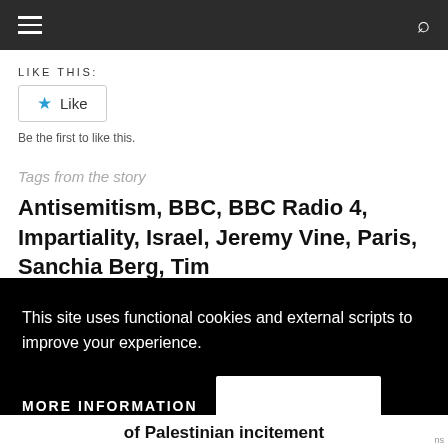Navigation bar with hamburger menu and search icon
LIKE THIS:
Like
Be the first to like this.
Tags from the story
Antisemitism, BBC, BBC Radio 4, Impartiality, Israel, Jeremy Vine, Paris, Sanchia Berg, Tim
This site uses functional cookies and external scripts to improve your experience.
MORE INFORMATION
of Palestinian incitement